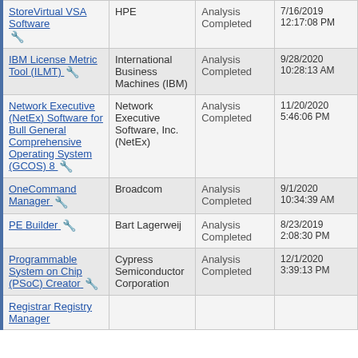| Product | Vendor | Status | Date |
| --- | --- | --- | --- |
| StoreVirtual VSA Software 🔧 | HPE | Analysis Completed | 7/16/2019 12:17:08 PM |
| IBM License Metric Tool (ILMT) 🔧 | International Business Machines (IBM) | Analysis Completed | 9/28/2020 10:28:13 AM |
| Network Executive (NetEx) Software for Bull General Comprehensive Operating System (GCOS) 8 🔧 | Network Executive Software, Inc. (NetEx) | Analysis Completed | 11/20/2020 5:46:06 PM |
| OneCommand Manager 🔧 | Broadcom | Analysis Completed | 9/1/2020 10:34:39 AM |
| PE Builder 🔧 | Bart Lagerweij | Analysis Completed | 8/23/2019 2:08:30 PM |
| Programmable System on Chip (PSoC) Creator 🔧 | Cypress Semiconductor Corporation | Analysis Completed | 12/1/2020 3:39:13 PM |
| Registrar Registry ... | ... | Analysis Completed | 7/8/2020 1:31:11 PM |